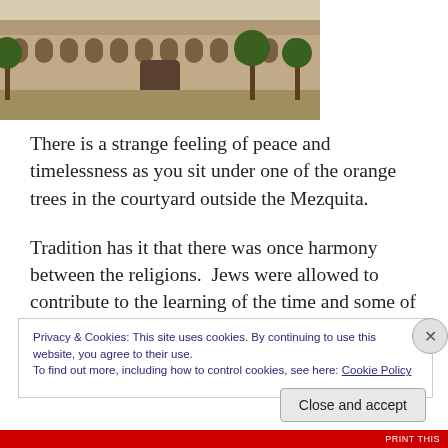[Figure (photo): Photograph of a historic building with arched facade, stone walls, and palm trees in the courtyard, likely the Mezquita in Córdoba, Spain]
There is a strange feeling of peace and timelessness as you sit under one of the orange trees in the courtyard outside the Mezquita.
Tradition has it that there was once harmony between the religions.  Jews were allowed to contribute to the learning of the time and some of the greatest poets, philosophers, and scholars of Al Andalus were Jewish. Maimonides was
Privacy & Cookies: This site uses cookies. By continuing to use this website, you agree to their use.
To find out more, including how to control cookies, see here: Cookie Policy